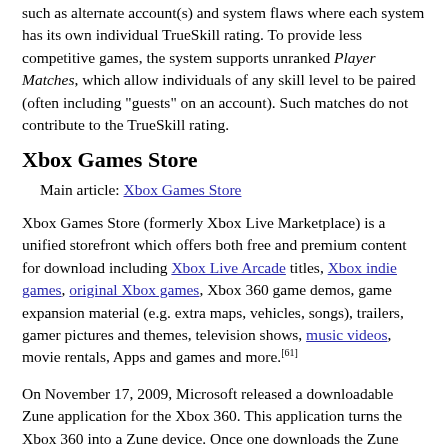such as alternate account(s) and system flaws where each system has its own individual TrueSkill rating. To provide less competitive games, the system supports unranked Player Matches, which allow individuals of any skill level to be paired (often including "guests" on an account). Such matches do not contribute to the TrueSkill rating.
Xbox Games Store
Main article: Xbox Games Store
Xbox Games Store (formerly Xbox Live Marketplace) is a unified storefront which offers both free and premium content for download including Xbox Live Arcade titles, Xbox indie games, original Xbox games, Xbox 360 game demos, game expansion material (e.g. extra maps, vehicles, songs), trailers, gamer pictures and themes, television shows, music videos, movie rentals, Apps and games and more.[61]
On November 17, 2009, Microsoft released a downloadable Zune application for the Xbox 360. This application turns the Xbox 360 into a Zune device. Once one downloads the Zune application, it takes over the Marketplace menus and sections of the console. With the addition of the Zune Marketplace to an Xbox 360